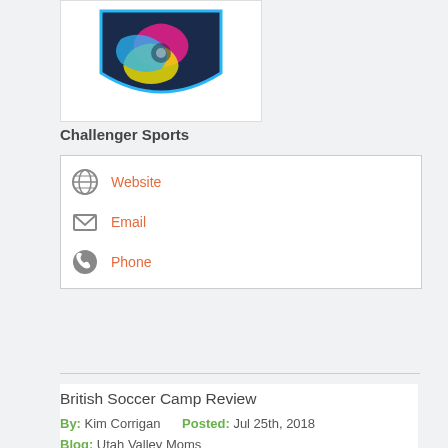[Figure (logo): Challenger Sports logo — colorful soccer/sports shield emblem with stylized animal in pink, yellow, and blue on dark navy background]
Challenger Sports
| Website |
| Email |
| Phone |
British Soccer Camp Review
By: Kim Corrigan   Posted: Jul 25th, 2018
Blog: Utah Valley Moms
The British Soccer Camp comes to Utah yearly and is a highly-anticipated soccer camp. We knew nothing about it beforehand but were looking forward to having my son participate in this soccer camp and see what new skills he